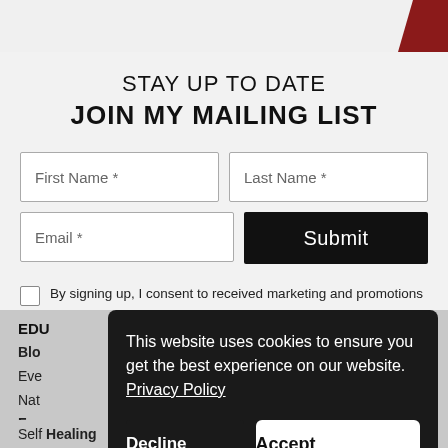[Figure (screenshot): Top decorative strip with reddish ornament in top-right corner]
STAY UP TO DATE
JOIN MY MAILING LIST
First Name *
Last Name *
Email *
Submit
By signing up, I consent to received marketing and promotions and read the Privacy Policy*
EDU
Blo
Eve
Nat
Fas
This website uses cookies to ensure you get the best experience on our website.  Privacy Policy
Decline
Accept
Self Healing